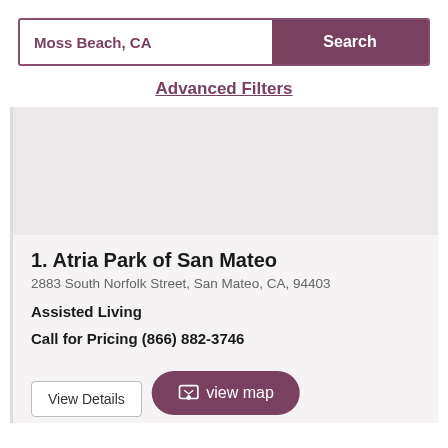Moss Beach, CA
Search
Advanced Filters
[Figure (other): Map placeholder area showing a light grey/purple tinted map region]
1. Atria Park of San Mateo
2883 South Norfolk Street, San Mateo, CA, 94403
Assisted Living
Call for Pricing (866) 882-3746
view map
View Details